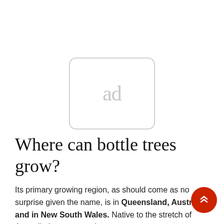[Figure (other): Ad placeholder box with rounded border containing the text 'ad' in light gray]
Where can bottle trees grow?
Its primary growing region, as should come as no surprise given the name, is in Queensland, Australia and in New South Wales. Native to the stretch of Australia between northern